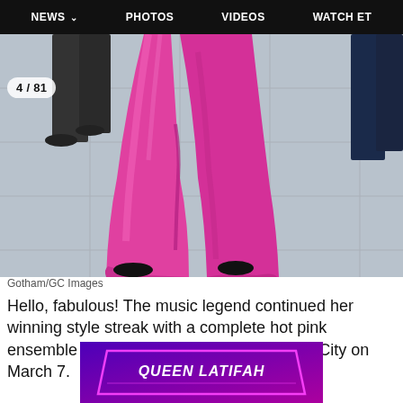NEWS  PHOTOS  VIDEOS  WATCH ET
[Figure (photo): Close-up photo of person walking in bright hot pink wide-leg trousers on a sidewalk. Other people's legs visible in background. Photo counter badge showing 4/81 in top left corner.]
Gotham/GC Images
Hello, fabulous! The music legend continued her winning style streak with a complete hot pink ensemble while out-and-about in New York City on March 7.
[Figure (photo): Partial view of promotional image with purple/neon background showing text QUEEN LATIFAH]